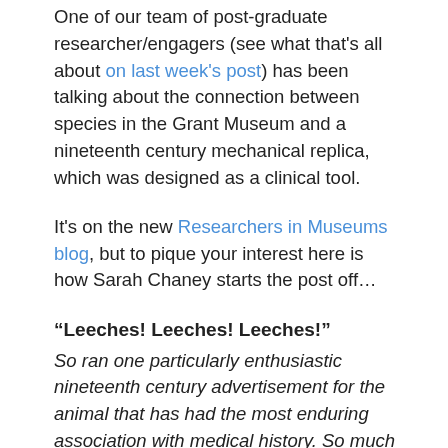One of our team of post-graduate researcher/engagers (see what that's all about on last week's post) has been talking about the connection between species in the Grant Museum and a nineteenth century mechanical replica, which was designed as a clinical tool.
It's on the new Researchers in Museums blog, but to pique your interest here is how Sarah Chaney starts the post off…
“Leeches! Leeches! Leeches!”
So ran one particularly enthusiastic nineteenth century advertisement for the animal that has had the most enduring association with medical history. So much so, that one inspired individual decided to make a mechanical version of the creature. During my public engagement sessions in the Grant Museum, I’ve tried